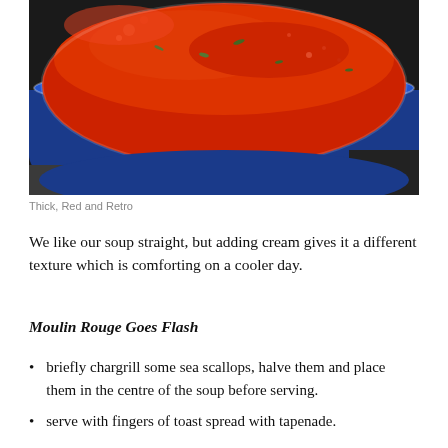[Figure (photo): A blue enameled pot or pan filled with thick, bright red tomato soup simmering on a stovetop. Herbs are visible floating in the soup. The pot has a white rim and the background shows a kitchen surface.]
Thick, Red and Retro
We like our soup straight, but adding cream gives it a different texture which is comforting on a cooler day.
Moulin Rouge Goes Flash
briefly chargrill some sea scallops, halve them and place them in the centre of the soup before serving.
serve with fingers of toast spread with tapenade.